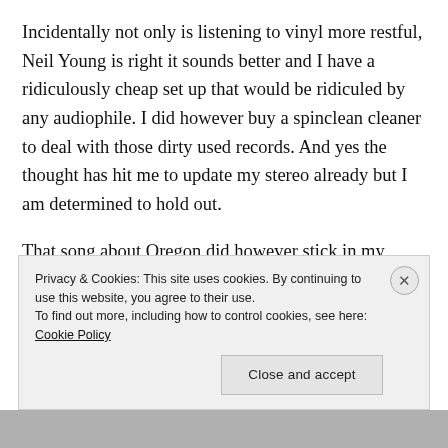Incidentally not only is listening to vinyl more restful, Neil Young is right it sounds better and I have a ridiculously cheap set up that would be ridiculed by any audiophile. I did however buy a spinclean cleaner to deal with those dirty used records. And yes the thought has hit me to update my stereo already but I am determined to hold out.
That song about Oregon did however stick in my mind. Then I met a girl from Oregon, she told me they were pronouncing it wrong and it became even cooler in for
Privacy & Cookies: This site uses cookies. By continuing to use this website, you agree to their use.
To find out more, including how to control cookies, see here: Cookie Policy
Close and accept